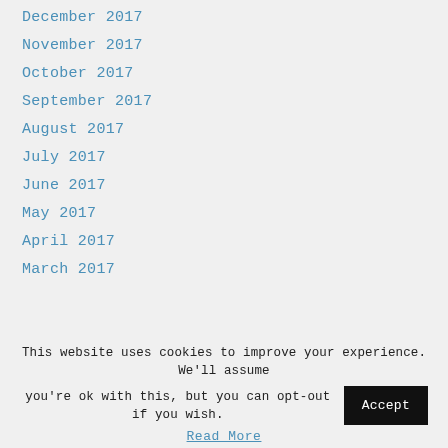December 2017
November 2017
October 2017
September 2017
August 2017
July 2017
June 2017
May 2017
April 2017
March 2017
This website uses cookies to improve your experience. We'll assume you're ok with this, but you can opt-out if you wish. Accept Read More